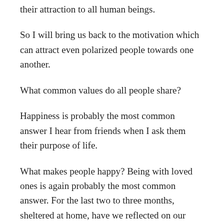their attraction to all human beings.
So I will bring us back to the motivation which can attract even polarized people towards one another.
What common values do all people share?
Happiness is probably the most common answer I hear from friends when I ask them their purpose of life.
What makes people happy? Being with loved ones is again probably the most common answer. For the last two to three months, sheltered at home, have we reflected on our lives and re-affirmed what make us happy and motivated to